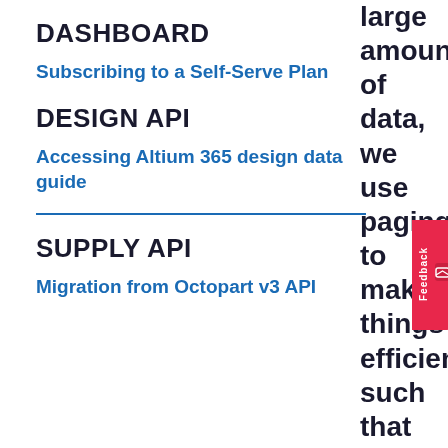DASHBOARD
Subscribing to a Self-Serve Plan
DESIGN API
Accessing Altium 365 design data guide
SUPPLY API
Migration from Octopart v3 API
large amounts of data, we use paging to make things efficient, such that we return smaller chunks of data, and only the data we are